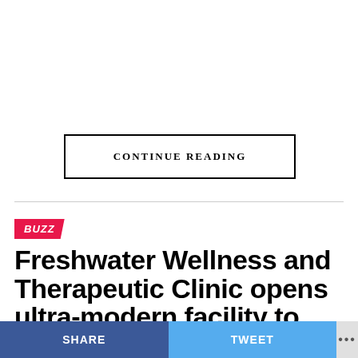CONTINUE READING
BUZZ
Freshwater Wellness and Therapeutic Clinic opens ultra-modern facility to provide quality healthcare to Ghanaians
SHARE   TWEET   ...